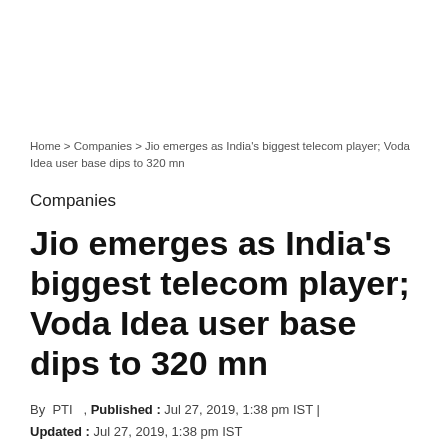Home > Companies > Jio emerges as India's biggest telecom player; Voda Idea user base dips to 320 mn
Companies
Jio emerges as India's biggest telecom player; Voda Idea user base dips to 320 mn
By PTI , Published : Jul 27, 2019, 1:38 pm IST | Updated : Jul 27, 2019, 1:38 pm IST
According to financial results reported